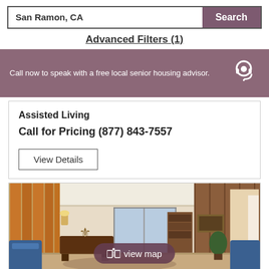San Ramon, CA  Search
Advanced Filters (1)
Call now to speak with a free local senior housing advisor.
Assisted Living
Call for Pricing (877) 843-7557
View Details
[Figure (photo): Interior room photo of a senior living facility showing a lobby/common area with wood paneling, blue chairs, orange drapes, and a view map overlay button]